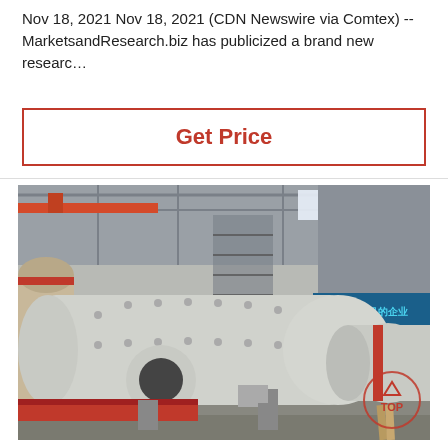Nov 18, 2021 Nov 18, 2021 (CDN Newswire via Comtex) -- MarketsandResearch.biz has publicized a brand new researc…
Get Price
[Figure (photo): Industrial ball mills in a large factory/manufacturing facility with steel structure, cranes, and Chinese text signage visible in background]